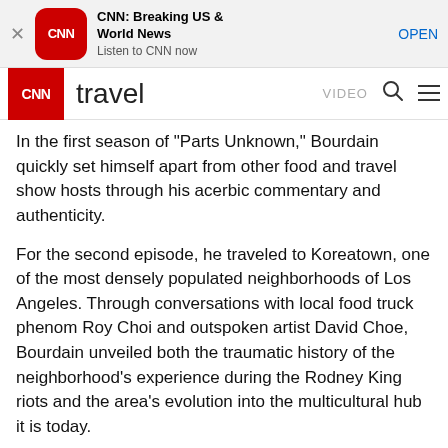[Figure (screenshot): CNN app banner with CNN logo icon, title 'CNN: Breaking US & World News', subtitle 'Listen to CNN now', and OPEN button]
CNN travel  VIDEO
In the first season of 'Parts Unknown,' Bourdain quickly set himself apart from other food and travel show hosts through his acerbic commentary and authenticity.
For the second episode, he traveled to Koreatown, one of the most densely populated neighborhoods of Los Angeles. Through conversations with local food truck phenom Roy Choi and outspoken artist David Choe, Bourdain unveiled both the traumatic history of the neighborhood's experience during the Rodney King riots and the area's evolution into the multicultural hub it is today.
[Figure (other): Advertisement placeholder box with close X button]
Take a look inside Choe's Los Angeles warehouse where